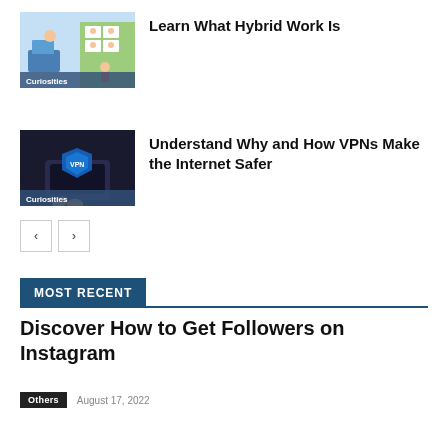[Figure (illustration): Thumbnail image for hybrid work article showing person at desk with video call grid, labeled Curiosities]
Learn What Hybrid Work Is
[Figure (illustration): Thumbnail image of hands holding a phone/tablet with VPN shield logo, dark background, labeled Curiosities]
Understand Why and How VPNs Make the Internet Safer
< >
MOST RECENT
Discover How to Get Followers on Instagram
Others  August 17, 2022